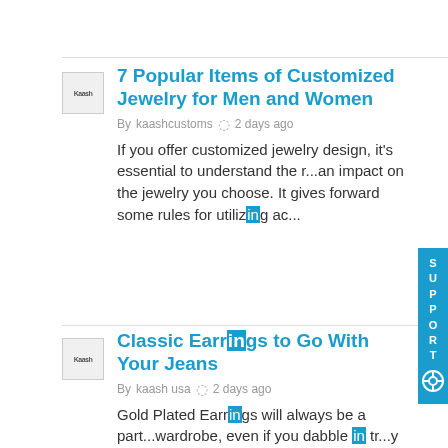7 Popular Items of Customized Jewelry for Men and Women
By kaashcustoms  2 days ago
If you offer customized jewelry design, it's essential to understand the r...an impact on the jewelry you choose. It gives forward some rules for utilizing ac...
Classic Earrings to Go With Your Jeans
By kaash usa  2 days ago
Gold Plated Earrings will always be a part...wardrobe, even if you dabble in tr...y jewelry wholesale to clean minim...the ideal foundation for styling earr...wardrobe. A straightforward,